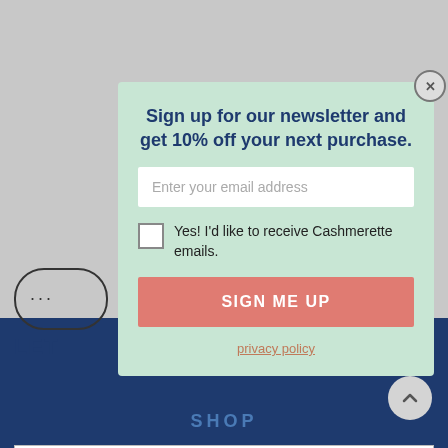[Figure (screenshot): Website newsletter signup popup modal on a gray background with dark blue footer. Modal has mint/sage green background with title, email input, checkbox, sign up button, and privacy policy link.]
Sign up for our newsletter and get 10% off your next purchase.
Enter your email address
Yes! I'd like to receive Cashmerette emails.
SIGN ME UP
privacy policy
SHOP